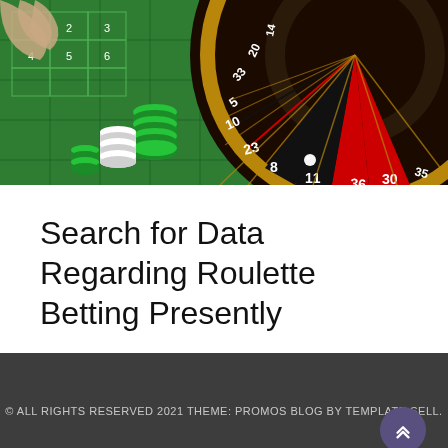[Figure (photo): Photo of a casino roulette table with green felt, stacked casino chips, a dealer's hand visible, and a close-up of a spinning roulette wheel showing numbers including 36, 11, 30, 8, 23, 10, 5, 33, 20, 14, 35 on red and black segments.]
Search for Data Regarding Roulette Betting Presently
© ALL RIGHTS RESERVED 2021 THEME: PROMOS BLOG BY TEMPLATE SELL.